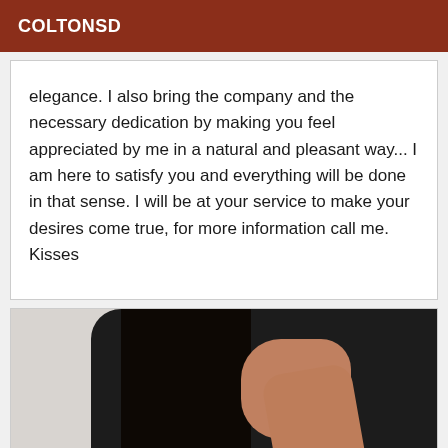COLTONSD
elegance. I also bring the company and the necessary dedication by making you feel appreciated by me in a natural and pleasant way... I am here to satisfy you and everything will be done in that sense. I will be at your service to make your desires come true, for more information call me. Kisses
[Figure (photo): Woman with dark hair wearing a black top, sitting near a bed with white pillows, holding her hands near her face/neck]